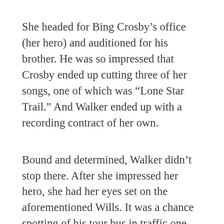She headed for Bing Crosby's office (her hero) and auditioned for his brother. He was so impressed that Crosby ended up cutting three of her songs, one of which was “Lone Star Trail.” And Walker ended up with a recording contract of her own.
Bound and determined, Walker didn’t stop there. After she impressed her hero, she had her eyes set on the aforementioned Wills. It was a chance spotting of his tour bus in traffic one day in Los Angeles where she tracked him down. It was in July of that same year when Wills cut “Dusty Skies.” In 1942, Columbia Records signed Wills to do eight musical westerns. Walker was hired to write all of the songs, which included more than 30 in total